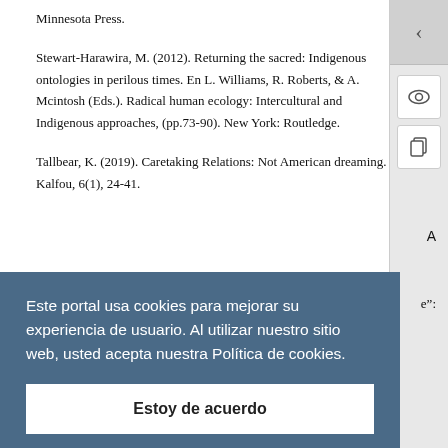Minnesota Press.
Stewart-Harawira, M. (2012). Returning the sacred: Indigenous ontologies in perilous times. En L. Williams, R. Roberts, & A. Mcintosh (Eds.). Radical human ecology: Intercultural and Indigenous approaches, (pp.73-90). New York: Routledge.
Tallbear, K. (2019). Caretaking Relations: Not American dreaming. Kalfou, 6(1), 24-41.
Este portal usa cookies para mejorar su experiencia de usuario. Al utilizar nuestro sitio web, usted acepta nuestra Política de cookies.
Estoy de acuerdo
Books.